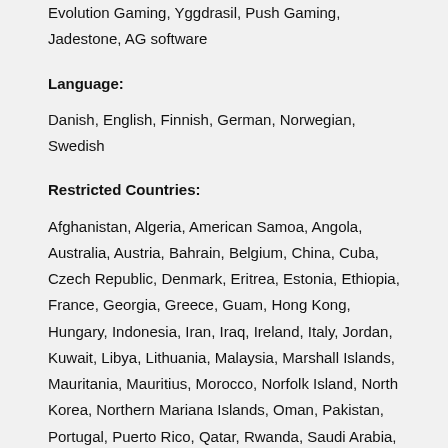Evolution Gaming, Yggdrasil, Push Gaming, Jadestone, AG software
Language:
Danish, English, Finnish, German, Norwegian, Swedish
Restricted Countries:
Afghanistan, Algeria, American Samoa, Angola, Australia, Austria, Bahrain, Belgium, China, Cuba, Czech Republic, Denmark, Eritrea, Estonia, Ethiopia, France, Georgia, Greece, Guam, Hong Kong, Hungary, Indonesia, Iran, Iraq, Ireland, Italy, Jordan, Kuwait, Libya, Lithuania, Malaysia, Marshall Islands, Mauritania, Mauritius, Morocco, Norfolk Island, North Korea, Northern Mariana Islands, Oman, Pakistan, Portugal, Puerto Rico, Qatar, Rwanda, Saudi Arabia, Singapore, Slovenia, Somalia, South Sudan, Spain, Sudan, Syria, Tunisia, Turkey, U.S. Virgin Islands, United Arab Emirates, United Kingdom, United States, Yemen